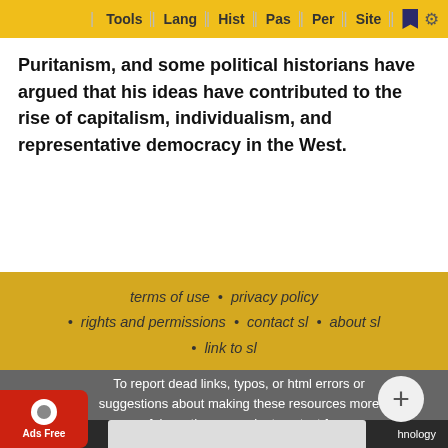Tools | Lang | Hist | Pas | Per | Site
Puritanism, and some political historians have argued that his ideas have contributed to the rise of capitalism, individualism, and representative democracy in the West.
terms of use • privacy policy • rights and permissions • contact sl • about sl • link to sl
To report dead links, typos, or html errors or suggestions about making these resources more useful use the convenient contact form
StudyL... ...hnology